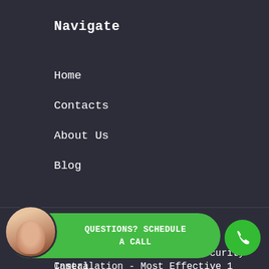Navigate
Home
Contacts
About Us
Blog
Recent Posts
Los Angeles Professional Security Camera Installation - Most Effective 1
eras
Installation - The Best 1
[Figure (screenshot): Green pill-shaped CTA button with customer service agent avatar on left and text 'QUESTIONS? SCHEDULE A CALL' in white bold monospace font. Green circular phone icon button on far right.]